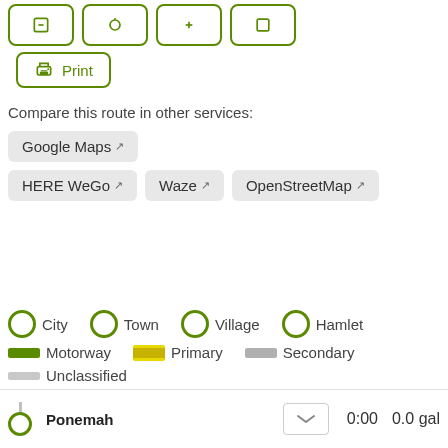[Figure (screenshot): Row of four icon buttons with green borders at the top of the page]
[Figure (screenshot): Print button with green printer icon and green border]
Compare this route in other services:
[Figure (screenshot): Service buttons: Google Maps, HERE WeGo, Waze, OpenStreetMap]
[Figure (infographic): Map legend showing City, Town, Village, Hamlet circles; Motorway, Primary, Secondary, Unclassified road lines]
Ponemah   0:00   0.0 gal